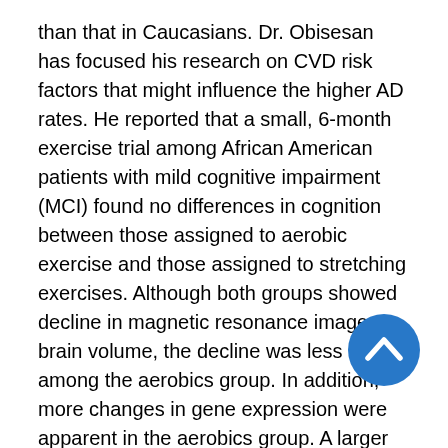than that in Caucasians. Dr. Obisesan has focused his research on CVD risk factors that might influence the higher AD rates. He reported that a small, 6-month exercise trial among African American patients with mild cognitive impairment (MCI) found no differences in cognition between those assigned to aerobic exercise and those assigned to stretching exercises. Although both groups showed decline in magnetic resonance image brain volume, the decline was less severe among the aerobics group. In addition, more changes in gene expression were apparent in the aerobics group. A larger trial is needed to explore these differences further. Dr. Obisesan also noted the support he had received from NIA and the importance of that support in his career.
Dr. Carillo closed her report by reminding Council